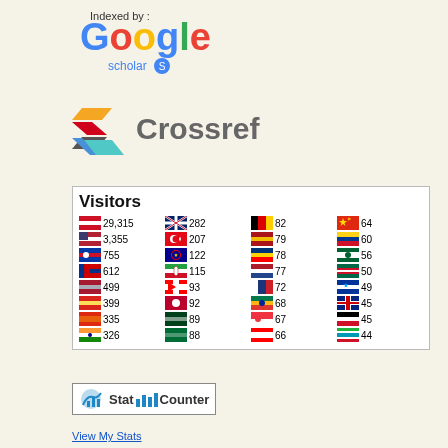[Figure (logo): Google Scholar logo with 'Indexed by:' label above]
[Figure (logo): Crossref logo with stylized arrow shapes and text 'Crossref']
| Flag | Count | Flag | Count | Flag | Count | Flag | Count |
| --- | --- | --- | --- | --- | --- | --- | --- |
| Indonesia | 29,315 | UK | 282 | Germany | 82 | Hong Kong | 64 |
| USA | 3,355 | Turkey | 207 | Spain | 79 | Colombia | 60 |
| Philippines | 755 | Australia | 122 | Ecuador | 78 | Algeria | 56 |
| Malaysia | 612 | Iran | 115 | Netherlands | 77 | Mexico | 50 |
| Thailand | 499 | Canada | 93 | Russia | 72 | Israel | 49 |
| Vietnam | 399 | Japan | 92 | South Africa | 68 | New Zealand | 45 |
| China | 335 | Pakistan | 89 | Singapore | 67 | Egypt | 45 |
| India | 326 | Saudi Arabia | 88 | Taiwan | 66 | Uzbekistan | 44 |
[Figure (logo): StatCounter logo]
View My Stats